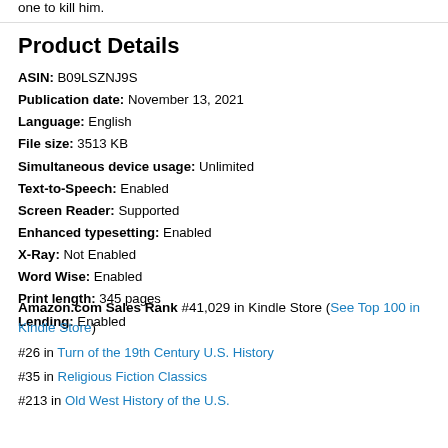one to kill him.
Product Details
ASIN: B09LSZNJ9S
Publication date: November 13, 2021
Language: English
File size: 3513 KB
Simultaneous device usage: Unlimited
Text-to-Speech: Enabled
Screen Reader: Supported
Enhanced typesetting: Enabled
X-Ray: Not Enabled
Word Wise: Enabled
Print length: 345 pages
Lending: Enabled
Amazon.com Sales Rank #41,029 in Kindle Store (See Top 100 in Kindle Store)
#26 in Turn of the 19th Century U.S. History
#35 in Religious Fiction Classics
#213 in Old West History of the U.S.